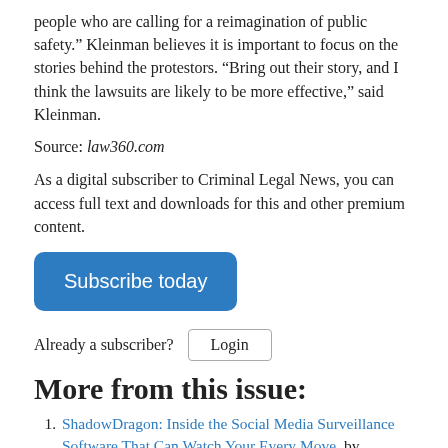people who are calling for a reimagination of public safety.” Kleinman believes it is important to focus on the stories behind the protestors. “Bring out their story, and I think the lawsuits are likely to be more effective,” said Kleinman.
Source: law360.com
As a digital subscriber to Criminal Legal News, you can access full text and downloads for this and other premium content.
Subscribe today
Already a subscriber? Login
More from this issue:
ShadowDragon: Inside the Social Media Surveillance Software That Can Watch Your Every Move, by Michael Kwet
Report Chronicles Growing List of Exonerations, by Jayson Hawkins
Racist Police Violence Reconsidered, by John McWhorter
Excited Delirium Syndrome: Pseudo-Scientific Shield for Law